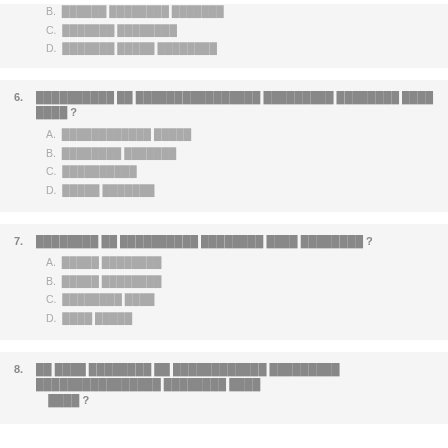B. ████ ██████ ███████
C. ███████ ██████
D. ███████ ████ ███████
6. ████████ ██ ████████████████ █████████ ████████ ████ ████ ?
A. ████████████ █████
B. ████████ ███████
C. ██████████
D. █████ ███████
7. ████████ ██ ██████████ ████████ ████ ████████ ?
A. █████ ████████
B. █████ ████████
C. ████████ ████
D. ████ █████
8. ██ ████ ████████ ██ ████████████ ████████ ████████████████ ████████ ████ ████ ?